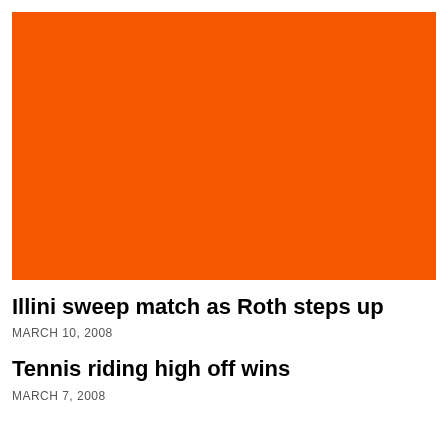[Figure (photo): Large solid orange/red-orange rectangular image block]
Illini sweep match as Roth steps up
MARCH 10, 2008
Tennis riding high off wins
MARCH 7, 2008